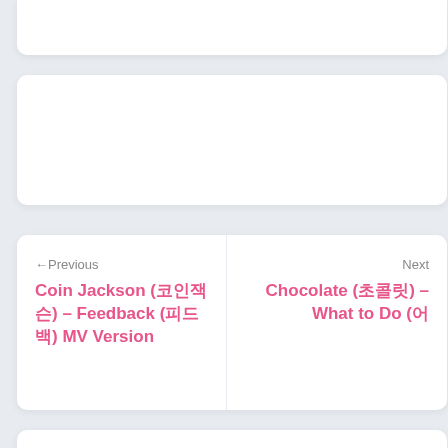← Previous
Coin Jackson (코인잭슨) – Feedback (피드백) MV Version
Next
Chocolate (초콜릿) – What to Do (어떡해)
Leave a Reply